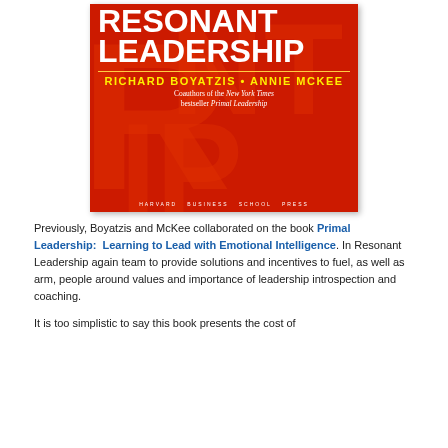[Figure (illustration): Book cover of 'Resonant Leadership' by Richard Boyatzis and Annie McKee, published by Harvard Business School Press. Red background with large white bold title text 'RESONANT LEADERSHIP', authors' names in yellow caps, subtitle noting they are coauthors of New York Times bestseller Primal Leadership.]
Previously, Boyatzis and McKee collaborated on the book Primal Leadership: Learning to Lead with Emotional Intelligence. In Resonant Leadership again team to provide solutions and incentives to fuel, as well as arm, people around values and importance of leadership introspection and coaching.
It is too simplistic to say this book presents the cost of